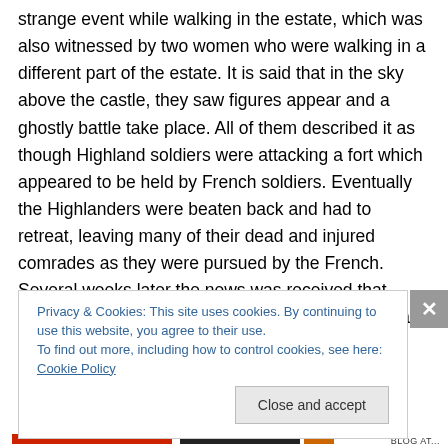strange event while walking in the estate, which was also witnessed by two women who were walking in a different part of the estate. It is said that in the sky above the castle, they saw figures appear and a ghostly battle take place. All of them described it as though Highland soldiers were attacking a fort which appeared to be held by French soldiers. Eventually the Highlanders were beaten back and had to retreat, leaving many of their dead and injured comrades as they were pursued by the French. Several weeks later the news was received that there had been a battle at Fort Ticonderoga in what is now New York State,
Privacy & Cookies: This site uses cookies. By continuing to use this website, you agree to their use.
To find out more, including how to control cookies, see here: Cookie Policy